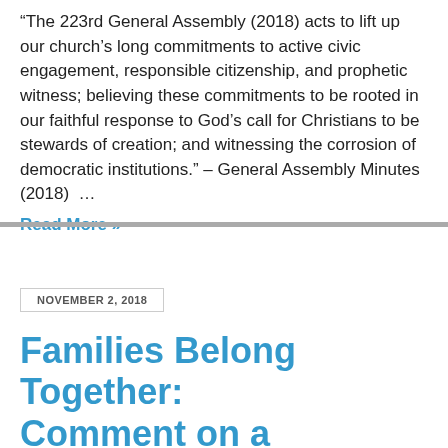“The 223rd General Assembly (2018) acts to lift up our church’s long commitments to active civic engagement, responsible citizenship, and prophetic witness; believing these commitments to be rooted in our faithful response to God’s call for Christians to be stewards of creation; and witnessing the corrosion of democratic institutions.” – General Assembly Minutes (2018)  …
Read More »
NOVEMBER 2, 2018
Families Belong Together: Comment on a Proposed